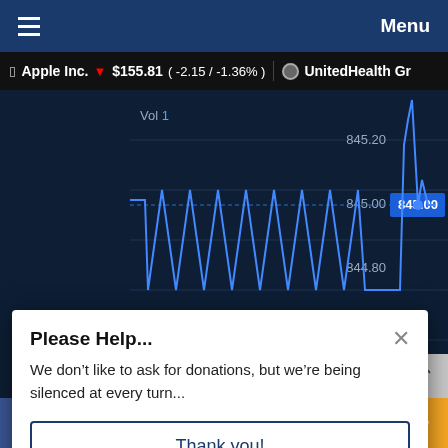≡  Menu
Apple Inc. ▼ $155.81 ( -2.15 / -1.36% )   UnitedHealth Gr
[Figure (continuous-plot): Stock price line chart showing UnitedHealth Group intraday price action with oscillating blue line between approximately 844.40 and 845.20, with a sharp spike upward near the right side. Price axis labels on the right: 845.20, 845.00, 844.80, 844.60, 844.40. Volume bars shown at bottom in teal, green, and pink. Current price highlighted at 845.00 in blue box.]
Please Help...
We don't like to ask for donations, but we're being silenced at every turn...
Thank you!
f  Twitter  MW  Pinterest  g  Reddit  Flipboard  Mail  +